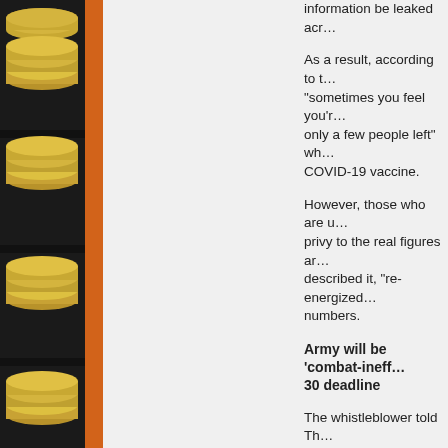[Figure (photo): Stack of Euro coins arranged vertically along left edge with orange vertical bar]
information be leaked acr…
As a result, according to t… "sometimes you feel you'r… only a few people left" wh… COVID-19 vaccine.
However, those who are u… privy to the real figures ar… described it, "re-energized… numbers.
Army will be 'combat-ineff… 30 deadline
The whistleblower told Th… plans to separate the unv… instead of enforcing the J… are going to do is hold off… July 1," and "will most like… earliest."
The June 2022 Army docu… proposes that a "phased a… separation" for unvaccinat…